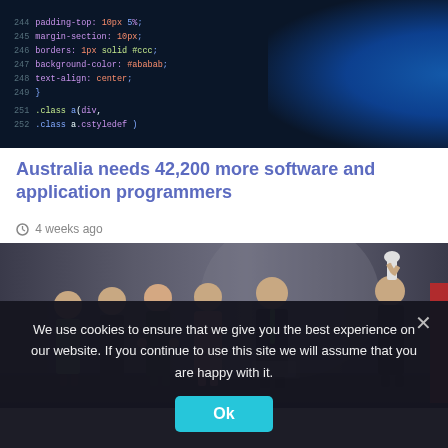[Figure (screenshot): Dark background showing code editor with colorful syntax-highlighted code lines, and a bright blue glow on the right side]
Australia needs 42,200 more software and application programmers
4 weeks ago
[Figure (photo): Award ceremony photo showing several women on stage applauding, a man in a suit, and a woman on the right holding up a trophy above her head]
We use cookies to ensure that we give you the best experience on our website. If you continue to use this site we will assume that you are happy with it.